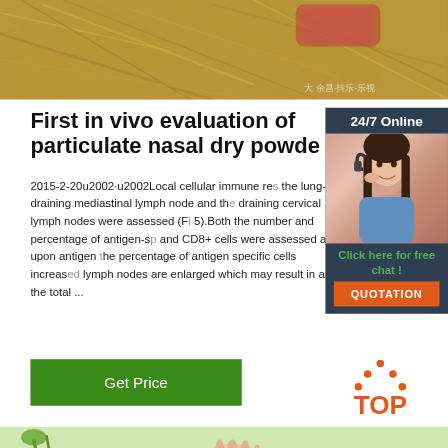[Figure (photo): Top image showing hay/straw with animal, with Chinese watermark text in bottom right]
First in vivo evaluation of particulate nasal dry powde
2015-2-20u2002·u2002Local cellular immune res the lung-draining mediastinal lymph node and th draining cervical lymph nodes were assessed (F 5).Both the number and percentage of antigen-sp and CD8+ cells were assessed as upon antigen the percentage of antigen specific cells increase lymph nodes are enlarged which may result in an the total ...
[Figure (photo): 24/7 Online sidebar with woman wearing headset, Click here for free chat, QUOTATION button]
[Figure (illustration): Get Price green button]
[Figure (logo): TOP icon with orange dots forming triangle above text TOP]
[Figure (photo): Bottom partial image showing green plant/hand]